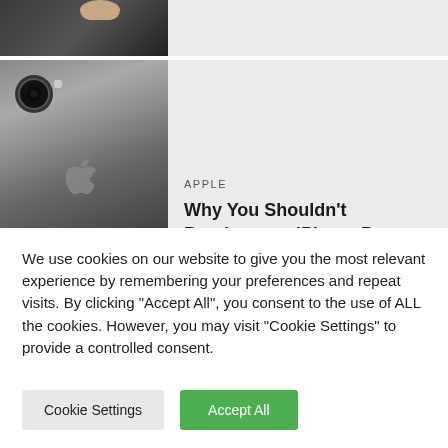[Figure (photo): Partial view of a smartphone being held, cropped at top]
[Figure (photo): Close-up of the back of an iPhone showing Apple logo and camera]
APPLE
Why You Shouldn’t Purchase an iPhone Proper Now
[Figure (screenshot): iOS update screen showing 264.7 MB update with security description text]
APPLE
5 Issues to Know Concerning the iOS
We use cookies on our website to give you the most relevant experience by remembering your preferences and repeat visits. By clicking “Accept All”, you consent to the use of ALL the cookies. However, you may visit "Cookie Settings" to provide a controlled consent.
Cookie Settings
Accept All